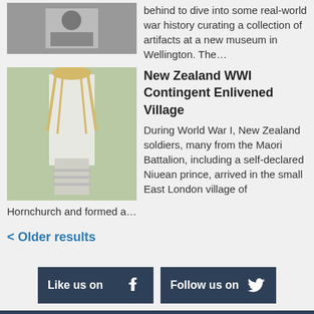behind to dive into some real-world war history curating a collection of artifacts at a new museum in Wellington. The…
New Zealand WWI Contingent Enlivened Village
During World War I, New Zealand soldiers, many from the Maori Battalion, including a self-declared Niuean prince, arrived in the small East London village of Hornchurch and formed a…
< Older results
[Figure (other): Like us on Facebook button and Follow us on Twitter button]
Desktop Version | Contact Us | Privacy | Terms of Service | Advertise | © Copyright NZEDGE 1998-2013